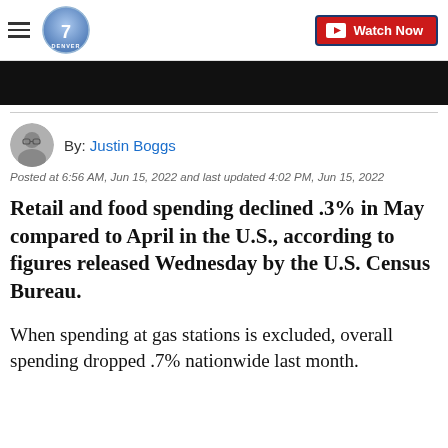Denver7 — Watch Now
[Figure (other): Black video player banner]
By: Justin Boggs
Posted at 6:56 AM, Jun 15, 2022 and last updated 4:02 PM, Jun 15, 2022
Retail and food spending declined .3% in May compared to April in the U.S., according to figures released Wednesday by the U.S. Census Bureau.
When spending at gas stations is excluded, overall spending dropped .7% nationwide last month.